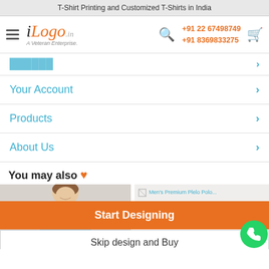T-Shirt Printing and Customized T-Shirts in India
[Figure (logo): iLogo.in logo with tagline 'A Veteran Enterprise.']
Your Account
Products
About Us
You may also ♥
[Figure (photo): Woman in light blue t-shirt]
Men's Premium Polo Polo...
Start Designing
Skip design and Buy